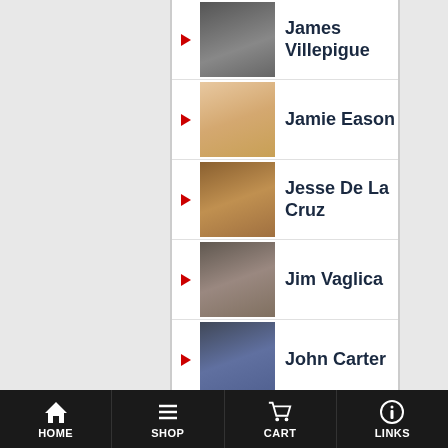James Villepigue
Jamie Eason
Jesse De La Cruz
Jim Vaglica
John Carter
John Hansen
John Rowley
Johnathan Zamora
Jonathan Lawson
kelsey
Kevin Alexander
HOME  SHOP  CART  LINKS